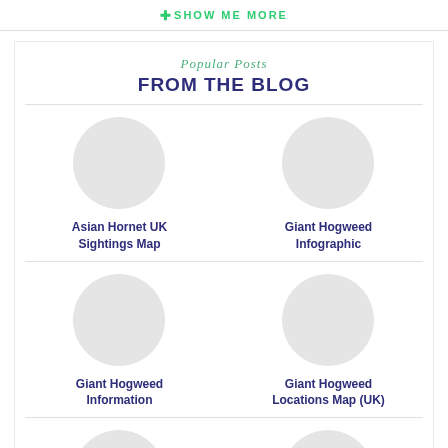+ SHOW ME MORE
Popular Posts
FROM THE BLOG
Asian Hornet UK Sightings Map
Giant Hogweed Infographic
Giant Hogweed Information
Giant Hogweed Locations Map (UK)